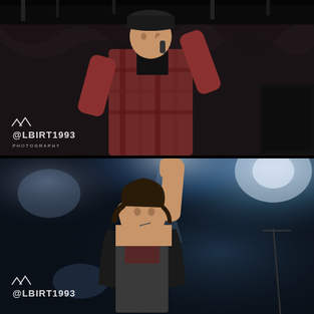[Figure (photo): Concert photo: a male performer on stage wearing a red plaid shirt and dark cap, singing into a microphone held to his mouth, with dark draped fabric backdrop and stage equipment visible. Watermark '@LBIRT1993 PHOTOGRAPHY' in white text at bottom left.]
[Figure (photo): Concert photo: a male performer on stage with one fist raised high and the other hand holding a microphone to his mouth, wearing a dark open shirt over a t-shirt with a scarf around his neck, dramatic stage lighting with bright beams and fog/haze in background. Watermark '@LBIRT1993' in white text at bottom left.]